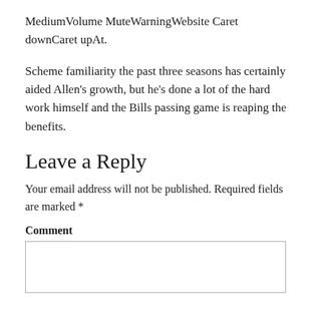MediumVolume MuteWarningWebsite Caret downCaret upAt.
Scheme familiarity the past three seasons has certainly aided Allen’s growth, but he’s done a lot of the hard work himself and the Bills passing game is reaping the benefits.
Leave a Reply
Your email address will not be published. Required fields are marked *
Comment